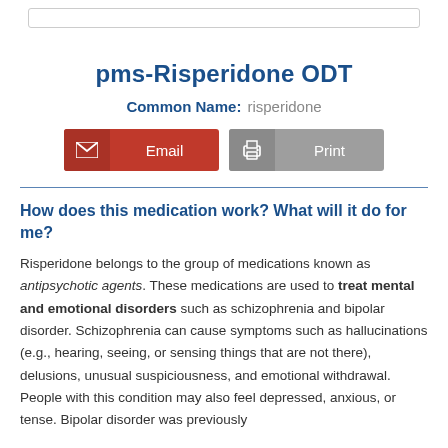pms-Risperidone ODT
Common Name: risperidone
How does this medication work? What will it do for me?
Risperidone belongs to the group of medications known as antipsychotic agents. These medications are used to treat mental and emotional disorders such as schizophrenia and bipolar disorder. Schizophrenia can cause symptoms such as hallucinations (e.g., hearing, seeing, or sensing things that are not there), delusions, unusual suspiciousness, and emotional withdrawal. People with this condition may also feel depressed, anxious, or tense. Bipolar disorder was previously